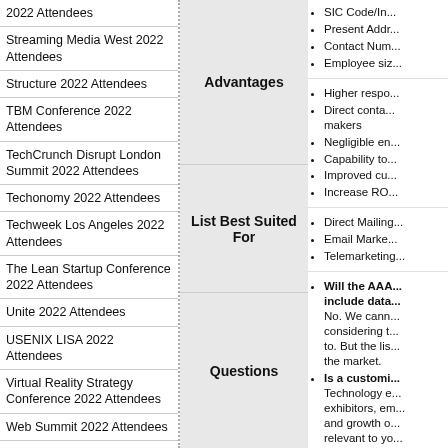2022 Attendees
Streaming Media West 2022 Attendees
Structure 2022 Attendees
TBM Conference 2022 Attendees
TechCrunch Disrupt London Summit 2022 Attendees
Techonomy 2022 Attendees
Techweek Los Angeles 2022 Attendees
The Lean Startup Conference 2022 Attendees
Unite 2022 Attendees
USENIX LISA 2022 Attendees
Virtual Reality Strategy Conference 2022 Attendees
Web Summit 2022 Attendees
WIRED 2022 Attendees
WordCamp US Summit 2022 Attendees
Cyber Summit 2022 Attendees
Advantages
SIC Code/Ind...
Present Addr...
Contact Num...
Employee siz...
Higher respo...
Direct contact... makers
Negligible en...
Capability to...
Improved cu...
Increase RO...
List Best Suited For
Direct Mailing...
Email Marke...
Telemarketing...
Questions
Will the AAA... include data... No. We can... considering t... to. But the lis... the market.
Is a customi... Technology e... exhibitors, em... and growth o... relevant to yo... you to custo...